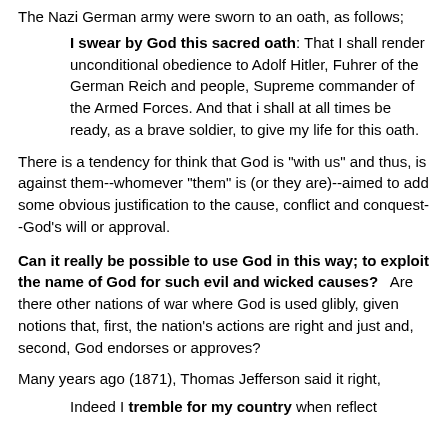The Nazi German army were sworn to an oath, as follows;
I swear by God this sacred oath: That I shall render unconditional obedience to Adolf Hitler, Fuhrer of the German Reich and people, Supreme commander of the Armed Forces. And that i shall at all times be ready, as a brave soldier, to give my life for this oath.
There is a tendency for think that God is "with us" and thus, is against them--whomever "them" is (or they are)--aimed to add some obvious justification to the cause, conflict and conquest--God's will or approval.
Can it really be possible to use God in this way; to exploit the name of God for such evil and wicked causes?   Are there other nations of war where God is used glibly, given notions that, first, the nation's actions are right and just and, second, God endorses or approves?
Many years ago (1871), Thomas Jefferson said it right,
Indeed I tremble for my country when reflect